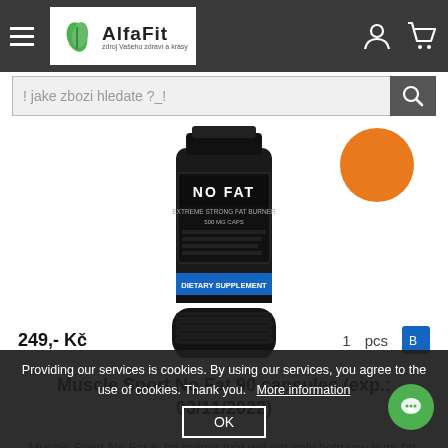AlfaFit - zdroj Vašeho zdraví a krásy
! jake zbozi hledate ?_!
[Figure (photo): Dark supplement bottle with 'NO FAT' label - Extreme Strong Fat Burner 500mg capsules, black bottle with blue band]
Muscle Sport No Fat 90 capsules (exp.: 03/11/2022)
Muscle Sport No Fat is fat burner that will not only help you burn fat, but you will gradually ...
Packing: 90 capsules
Availability: In Stock
Providing our services is cookies. By using our services, you agree to the use of cookies. Thank you.   More information
OK
249,- Kč    1    pcs